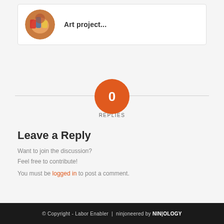[Figure (photo): Circular avatar image showing colorful crafts/art]
Art project...
[Figure (infographic): Orange circle with '0' in center and 'REPLIES' label below, with horizontal dividing line]
Leave a Reply
Want to join the discussion?
Feel free to contribute!
You must be logged in to post a comment.
© Copyright - Labor Enabler | ninjoneered by NINJOLOGY